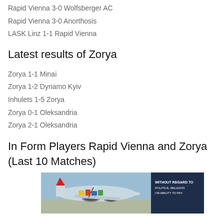Rapid Vienna 3-0 Wolfsberger AC
Rapid Vienna 3-0 Anorthosis
LASK Linz 1-1 Rapid Vienna
Latest results of Zorya
Zorya 1-1 Minai
Zorya 1-2 Dynamo Kyiv
Inhulets 1-5 Zorya
Zorya 0-1 Oleksandria
Zorya 2-1 Oleksandria
In Form Players Rapid Vienna and Zorya (Last 10 Matches)
[Figure (photo): Advertisement banner showing an airplane being loaded with cargo, with text 'WITHOUT REGARD TO POLITICS, RELIGION OR ABILITY TO PAY']